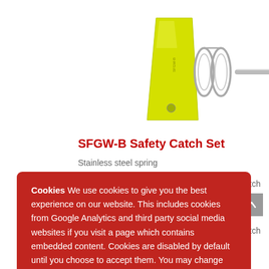[Figure (photo): Product photo showing SFGW-B Safety Catch Set components: a yellow trapezoidal body/plate, a stainless steel torsion spring, and a small metal pin/rod, displayed on white background.]
SFGW-B Safety Catch Set
Stainless steel spring
fety catch
fety catch
Stainless steel spring
Cookies We use cookies to give you the best experience on our website. This includes cookies from Google Analytics and third party social media websites if you visit a page which contains embedded content. Cookies are disabled by default until you choose to accept them. You may change your preferences at any time.
Accept
Read more